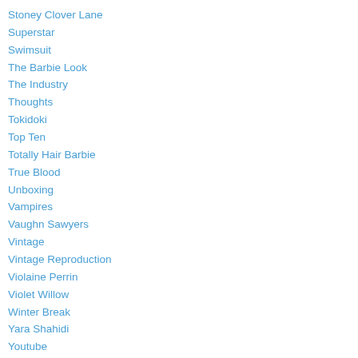Stoney Clover Lane
Superstar
Swimsuit
The Barbie Look
The Industry
Thoughts
Tokidoki
Top Ten
Totally Hair Barbie
True Blood
Unboxing
Vampires
Vaughn Sawyers
Vintage
Vintage Reproduction
Violaine Perrin
Violet Willow
Winter Break
Yara Shahidi
Youtube